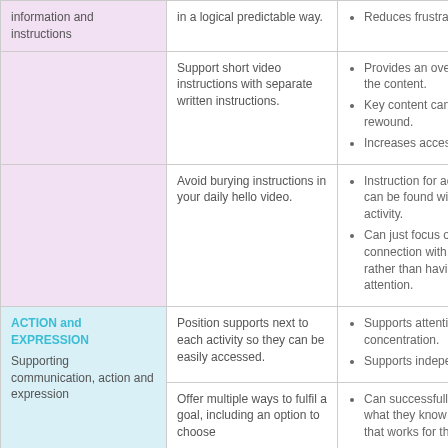| Category | Strategy | Benefits |
| --- | --- | --- |
| information and instructions | in a logical predictable way. | Reduces frustration. |
|  | Support short video instructions with separate written instructions. | Provides an overview of the content.
Key content can be easily rewound.
Increases accessibility. |
|  | Avoid burying instructions in your daily hello video. | Instruction for activities can be found with the activity.
Can just focus on connection with you, rather than having to split attention. |
| ACTION and EXPRESSION Supporting communication, action and expression | Position supports next to each activity so they can be easily accessed. | Supports attention and concentration.
Supports independence. |
|  | Offer multiple ways to fulfil a goal, including an option to choose | Can successfully show what they know in a way that works for them |